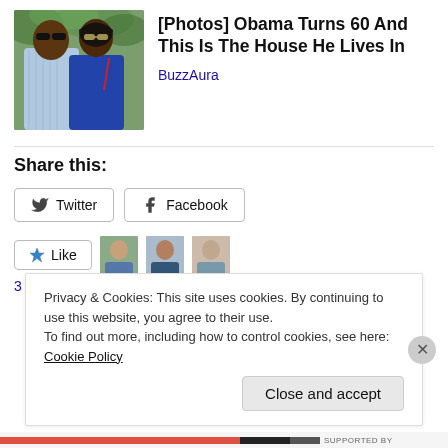[Figure (photo): Thumbnail photo of Barack Obama and Michelle Obama wearing sunglasses, outdoors with green foliage in background]
[Photos] Obama Turns 60 And This Is The House He Lives In
BuzzAura
Share this:
Twitter  Facebook
Like
3 bloggers like this.
Privacy & Cookies: This site uses cookies. By continuing to use this website, you agree to their use.
To find out more, including how to control cookies, see here: Cookie Policy
Close and accept